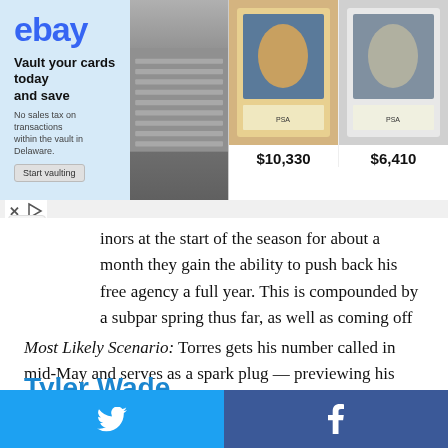[Figure (screenshot): eBay advertisement banner showing baseball cards for sale. Left side shows eBay logo with text 'Vault your cards today and save / No sales tax on transactions within the vault in Delaware. / Start vaulting'. Center shows a vault/storage image. Right side shows two baseball cards priced at $10,330 and $6,410.]
inors at the start of the season for about a month they gain the ability to push back his free agency a full year. This is compounded by a subpar spring thus far, as well as coming off Tommy John surgery to repair his elbow. Not a good outlook for him to make the Opening Day squad. Never say never though, an unforeseen rash of injuries could force the Yankees to keep their budding superstar around, but it’s very unlikely.
Most Likely Scenario: Torres gets his number called in mid-May and serves as a spark plug — previewing his future greatness.
Tyler Wade
[Figure (other): Social media sharing buttons: Twitter (blue) on the left, Facebook (dark blue) on the right]